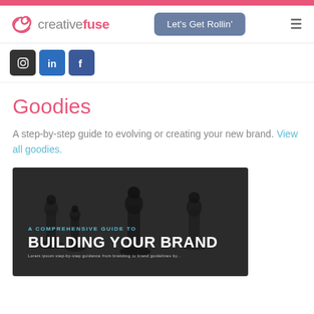creativefuse — Let's Get Rollin'
[Figure (screenshot): Social media icons: Instagram (dark square), LinkedIn (blue square), Facebook (blue square)]
Goodies
A step-by-step guide to evolving or creating your new brand. View all goodies.
[Figure (photo): Book cover for 'A Comprehensive Guide to Building Your Brand' showing chess pieces on a dark background with cyan and white text overlay.]